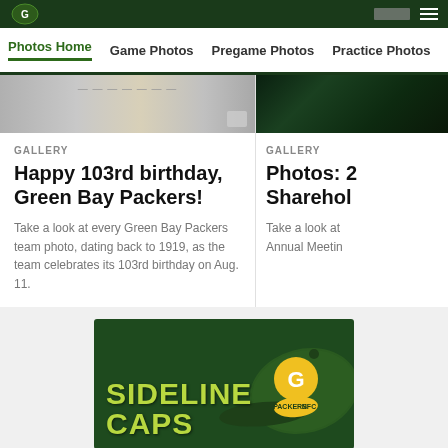Photos Home | Game Photos | Pregame Photos | Practice Photos
[Figure (screenshot): Truncated gallery image of Green Bay Packers team photo]
GALLERY
Happy 103rd birthday, Green Bay Packers!
Take a look at every Green Bay Packers team photo, dating back to 1919, as the team celebrates its 103rd birthday on Aug. 11.
[Figure (screenshot): Truncated gallery image dark background]
GALLERY
Photos: 2 Sharehol
Take a look at Annual Meetin
[Figure (photo): Sideline Caps advertisement banner with Green Bay Packers cap and NFC logo]